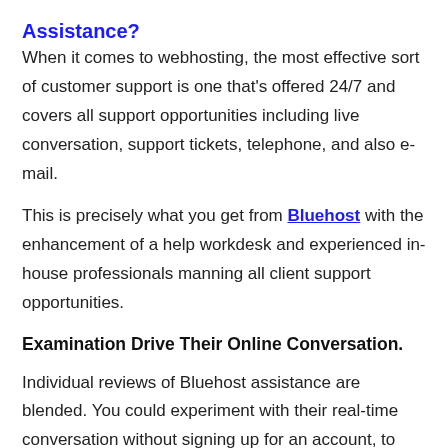Assistance?
When it comes to webhosting, the most effective sort of customer support is one that’s offered 24/7 and covers all support opportunities including live conversation, support tickets, telephone, and also e-mail.
This is precisely what you get from Bluehost with the enhancement of a help workdesk and experienced in-house professionals manning all client support opportunities.
Examination Drive Their Online Conversation.
Individual reviews of Bluehost assistance are blended. You could experiment with their real-time conversation without signing up for an account, to see just how you like the action time as well as quality.
Bluehost offers 30-day money-back guarantee...